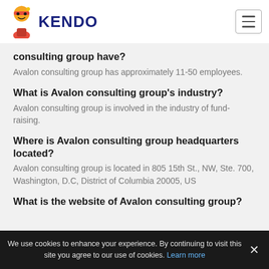KENDO
consulting group have?
Avalon consulting group has approximately 11-50 employees.
What is Avalon consulting group's industry?
Avalon consulting group is involved in the industry of fund-raising.
Where is Avalon consulting group headquarters located?
Avalon consulting group is located in 805 15th St., NW, Ste. 700, Washington, D.C, District of Columbia 20005, US
What is the website of Avalon consulting group?
We use cookies to enhance your experience. By continuing to visit this site you agree to our use of cookies. Learn more